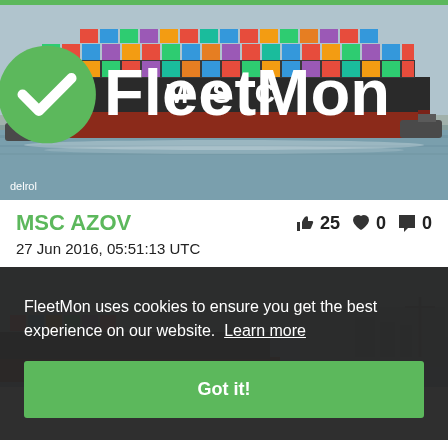[Figure (photo): Large MSC container ship being guided by tugboats on water, with colorful shipping containers on deck. Photo credited to 'delrol' and FleetMon watermark visible.]
MSC AZOV
25 likes, 0 hearts, 0 comments
27 Jun 2016, 05:51:13 UTC
FleetMon uses cookies to ensure you get the best experience on our website. Learn more  Got it!
[Figure (photo): Partially visible second ship photo behind cookie banner.]